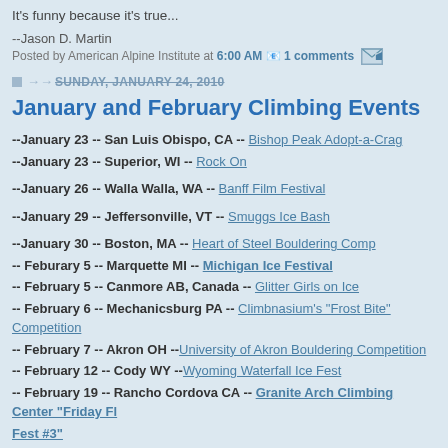It's funny because it's true...
--Jason D. Martin
Posted by American Alpine Institute at 6:00 AM  1 comments
SUNDAY, JANUARY 24, 2010
January and February Climbing Events
--January 23 -- San Luis Obispo, CA -- Bishop Peak Adopt-a-Crag
--January 23 -- Superior, WI -- Rock On
--January 26 -- Walla Walla, WA -- Banff Film Festival
--January 29 -- Jeffersonville, VT -- Smuggs Ice Bash
--January 30 -- Boston, MA -- Heart of Steel Bouldering Comp
-- Feburary 5 -- Marquette MI -- Michigan Ice Festival
-- February 5 -- Canmore AB, Canada -- Glitter Girls on Ice
-- February 6 -- Mechanicsburg PA -- Climbnasium's "Frost Bite" Competition
-- February 7 -- Akron OH --University of Akron Bouldering Competition
-- February 12 -- Cody WY --Wyoming Waterfall Ice Fest
-- February 19 -- Rancho Cordova CA -- Granite Arch Climbing Center "Friday Fl... Fest #3"
-- February 20 -- Eugene OR -- University of Oregon Vertical Circus Climbing